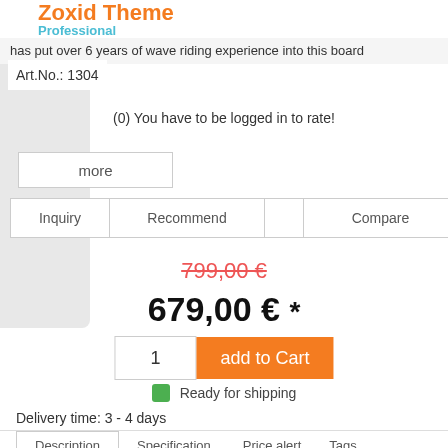Zoxid Theme Professional
has put over 6 years of wave riding experience into this board
Art.No.: 1304
(0) You have to be logged in to rate!
more
Inquiry
Recommend
Compare
799,00 €
679,00 € *
1
add to Cart
Ready for shipping
Delivery time: 3 - 4 days
Description | Specification | Price alert | Tags
Comments